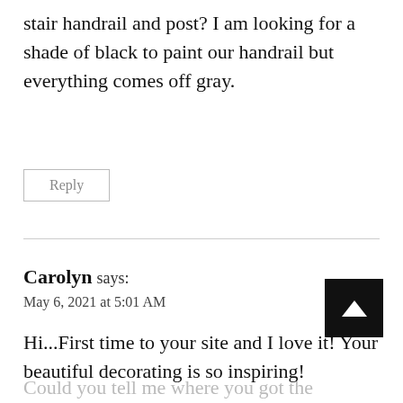stair handrail and post? I am looking for a shade of black to paint our handrail but everything comes off gray.
Reply
Carolyn says:
May 6, 2021 at 5:01 AM
Hi...First time to your site and I love it! Your beautiful decorating is so inspiring!
Could you tell me where you got the